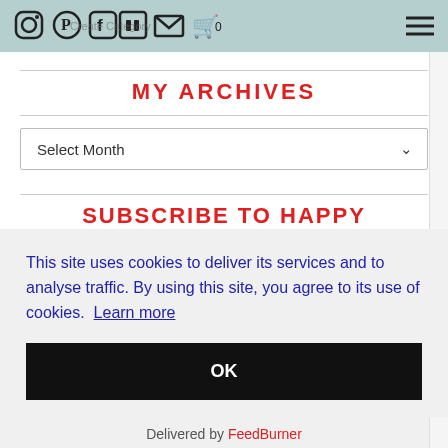Social media icons and navigation bar with hamburger menu
MY ARCHIVES
Select Month
SUBSCRIBE TO HAPPY
This site uses cookies to deliver its services and to analyse traffic. By using this site, you agree to its use of cookies.  Learn more
OK
Delivered by FeedBurner